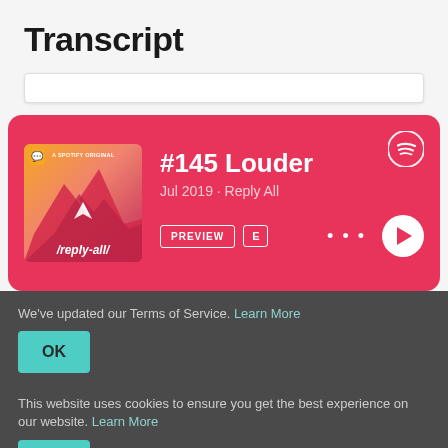Transcript
[Figure (screenshot): Spotify podcast card for episode #145 Louder by Reply All, Jul 2019. Shows album art with mountain imagery and /reply-all/ text, episode title, PREVIEW and E buttons, dots menu, and play button on a pink/red background.]
We've updated our Terms of Service. Learn More
OK
This website uses cookies to ensure you get the best experience on our website. Learn More
OK